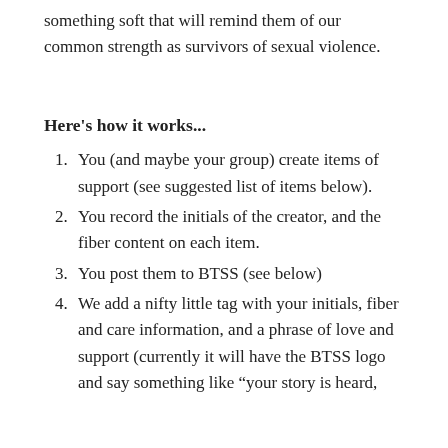to provide those with shared their story with something soft that will remind them of our common strength as survivors of sexual violence.
Here's how it works...
You (and maybe your group) create items of support (see suggested list of items below).
You record the initials of the creator, and the fiber content on each item.
You post them to BTSS (see below)
We add a nifty little tag with your initials, fiber and care information, and a phrase of love and support (currently it will have the BTSS logo and say something like “your story is heard,